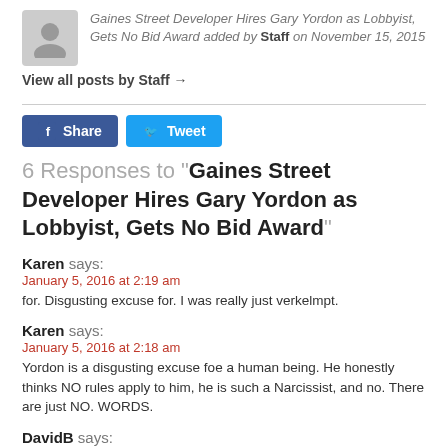Gaines Street Developer Hires Gary Yordon as Lobbyist, Gets No Bid Award added by Staff on November 15, 2015
View all posts by Staff →
[Figure (other): Facebook Share and Twitter Tweet social sharing buttons]
6 Responses to "Gaines Street Developer Hires Gary Yordon as Lobbyist, Gets No Bid Award"
Karen says:
January 5, 2016 at 2:19 am
for. Disgusting excuse for. I was really just verkelmpt.
Karen says:
January 5, 2016 at 2:18 am
Yordon is a disgusting excuse foe a human being. He honestly thinks NO rules apply to him, he is such a Narcissist, and no. There are just NO. WORDS.
DavidB says:
November 24, 2015 at 7:23 am
Silly ethical people. Don't you know by now it's not What, it's Who…
George K. Walker says: